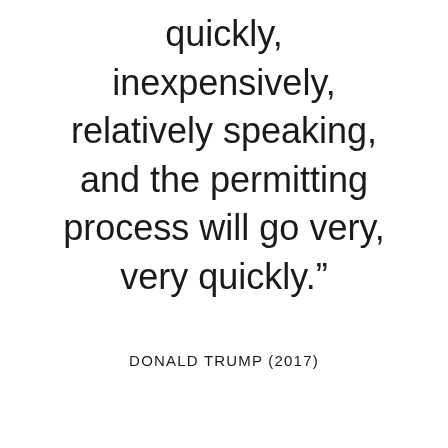quickly, inexpensively, relatively speaking, and the permitting process will go very, very quickly.”
DONALD TRUMP (2017)